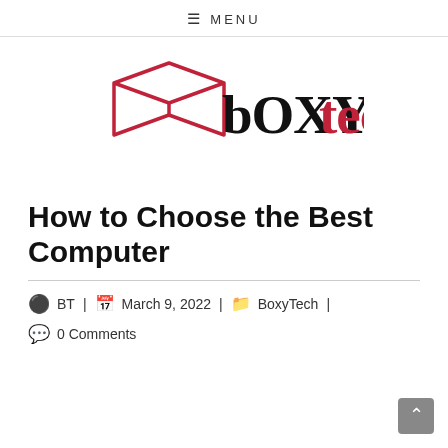≡ MENU
[Figure (logo): bOXYtech logo with a red box outline icon and stylized text: 'bOXY' in black bold serif and 'tech' in red bold serif]
How to Choose the Best Computer
BT | March 9, 2022 | BoxyTech | 0 Comments